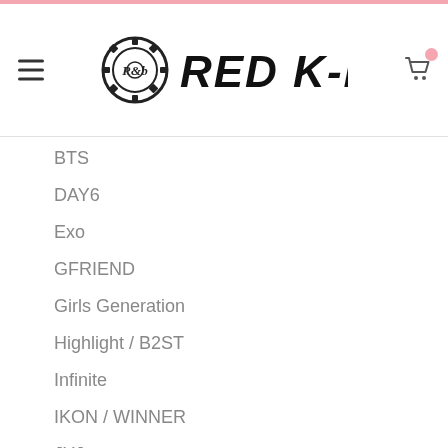RED K-POP
BTS
DAY6
Exo
GFRIEND
Girls Generation
Highlight / B2ST
Infinite
IKON / WINNER
JYJ
Lovelyz
NCT / NCT127 / NCT Dream
SHINee
Super Junior